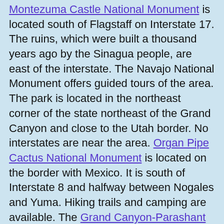Montezuma Castle National Monument is located south of Flagstaff on Interstate 17. The ruins, which were built a thousand years ago by the Sinagua people, are east of the interstate. The Navajo National Monument offers guided tours of the area. The park is located in the northeast corner of the state northeast of the Grand Canyon and close to the Utah border. No interstates are near the area. Organ Pipe Cactus National Monument is located on the border with Mexico. It is south of Interstate 8 and halfway between Nogales and Yuma. Hiking trails and camping are available. The Grand Canyon-Parashant National Monument is located to the west of the Grand Canyon and extends to the Nevada state line. Interstate 40 is to the south. This wilderness area does not have trails, but hiking and camping are available.
[Figure (photo): Photo of ancient cliff dwelling ruins (Montezuma Castle), showing multi-story stone/adobe structure built into a rocky cliff face, sepia-toned photograph.]
Pipe Spring National Monument is located in the